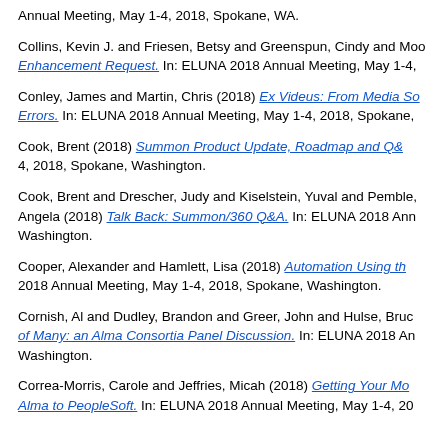Annual Meeting, May 1-4, 2018, Spokane, WA.
Collins, Kevin J. and Friesen, Betsy and Greenspun, Cindy and Moo… Enhancement Request. In: ELUNA 2018 Annual Meeting, May 1-4,…
Conley, James and Martin, Chris (2018) Ex Videus: From Media So… Errors. In: ELUNA 2018 Annual Meeting, May 1-4, 2018, Spokane,…
Cook, Brent (2018) Summon Product Update, Roadmap and Q&… 4, 2018, Spokane, Washington.
Cook, Brent and Drescher, Judy and Kiselstein, Yuval and Pemble, Angela (2018) Talk Back: Summon/360 Q&A. In: ELUNA 2018 Annual Meeting,… Washington.
Cooper, Alexander and Hamlett, Lisa (2018) Automation Using th… 2018 Annual Meeting, May 1-4, 2018, Spokane, Washington.
Cornish, Al and Dudley, Brandon and Greer, John and Hulse, Bruc… of Many: an Alma Consortia Panel Discussion. In: ELUNA 2018 A… Washington.
Correa-Morris, Carole and Jeffries, Micah (2018) Getting Your Mo… Alma to PeopleSoft. In: ELUNA 2018 Annual Meeting, May 1-4, 20…